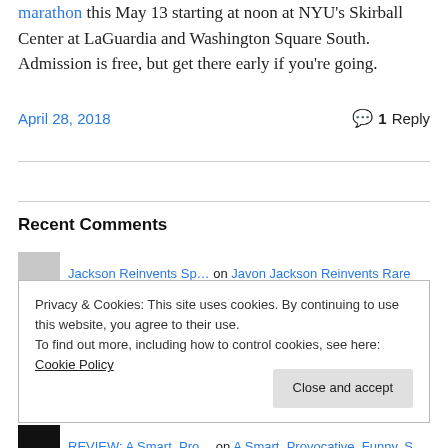marathon this May 13 starting at noon at NYU's Skirball Center at LaGuardia and Washington Square South. Admission is free, but get there early if you're going.
April 28, 2018   💬 1 Reply
Recent Comments
Jackson Reinvents Sp… on Javon Jackson Reinvents Rare
Privacy & Cookies: This site uses cookies. By continuing to use this website, you agree to their use.
To find out more, including how to control cookies, see here: Cookie Policy
Close and accept
REVIEW: A Smart, Pro… on A Smart, Provocative, Funny, S